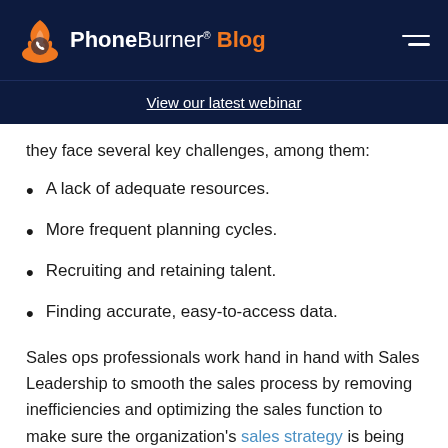PhoneBurner® Blog
View our latest webinar
they face several key challenges, among them:
A lack of adequate resources.
More frequent planning cycles.
Recruiting and retaining talent.
Finding accurate, easy-to-access data.
Sales ops professionals work hand in hand with Sales Leadership to smooth the sales process by removing inefficiencies and optimizing the sales function to make sure the organization's sales strategy is being executed